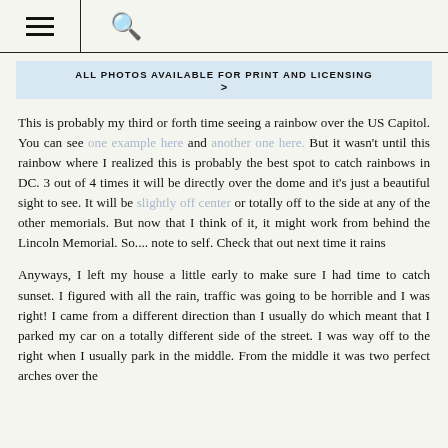≡  🔍
ALL PHOTOS AVAILABLE FOR PRINT AND LICENSING >
This is probably my third or forth time seeing a rainbow over the US Capitol. You can see one example here and another one here. But it wasn't until this rainbow where I realized this is probably the best spot to catch rainbows in DC. 3 out of 4 times it will be directly over the dome and it's just a beautiful sight to see. It will be slightly off center or totally off to the side at any of the other memorials. But now that I think of it, it might work from behind the Lincoln Memorial. So.... note to self. Check that out next time it rains
Anyways, I left my house a little early to make sure I had time to catch sunset. I figured with all the rain, traffic was going to be horrible and I was right! I came from a different direction than I usually do which meant that I parked my car on a totally different side of the street. I was way off to the right when I usually park in the middle. From the middle it was two perfect arches over the